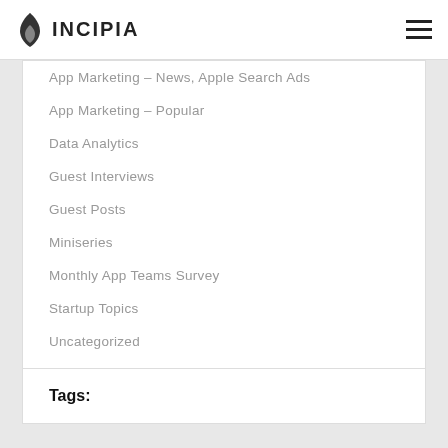INCIPIA
App Marketing – News, Apple Search Ads
App Marketing – Popular
Data Analytics
Guest Interviews
Guest Posts
Miniseries
Monthly App Teams Survey
Startup Topics
Uncategorized
YouTube Videos
Tags: